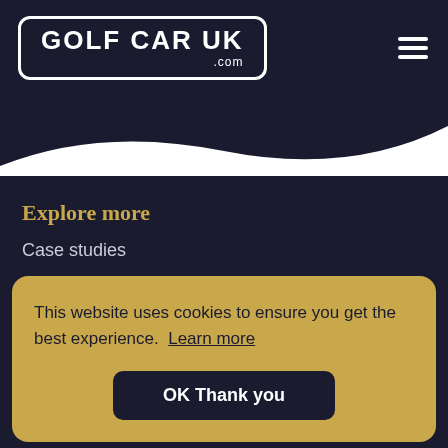[Figure (logo): Golf Car UK .com logo in white text inside a rounded rectangle border]
[Figure (illustration): Hamburger menu icon (three horizontal white lines)]
[Figure (illustration): White wave divider between white header area and dark background]
Explore more
Case studies
This website uses cookies to ensure you get the best experience.  Learn more
OK Thank you
Brochure downloads